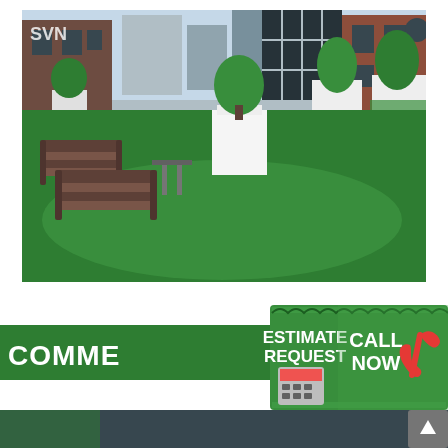[Figure (photo): Rooftop terrace with lush artificial green turf, wooden lounge chairs/benches on the left, white planters with trees and hanging plants along the back wall, brick building facades and urban skyline in the background, with a SVN watermark in the top-left corner.]
[Figure (infographic): Green banner text reading 'COMMERCIAL ARTIFICIAL TURF INSTALLATION' overlaid with a green grass-textured square popup showing 'ESTIMATE REQUEST' with a calculator image and 'CALL NOW' with a red telephone handset graphic.]
[Figure (photo): Partial view of another outdoor area with artificial turf, partially visible at the bottom of the page. A dark scroll-to-top arrow button is visible in the bottom-right corner.]